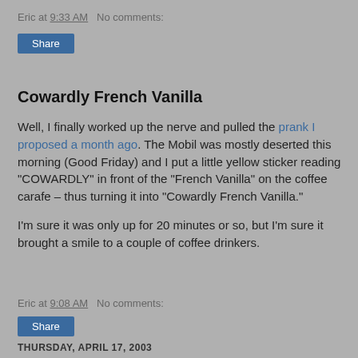Eric at 9:33 AM   No comments:
[Figure (other): Share button (blue)]
Cowardly French Vanilla
Well, I finally worked up the nerve and pulled the prank I proposed a month ago. The Mobil was mostly deserted this morning (Good Friday) and I put a little yellow sticker reading “COWARDLY” in front of the “French Vanilla” on the coffee carafe – thus turning it into “Cowardly French Vanilla.”
I’m sure it was only up for 20 minutes or so, but I’m sure it brought a smile to a couple of coffee drinkers.
Eric at 9:08 AM   No comments:
[Figure (other): Share button (blue)]
THURSDAY, APRIL 17, 2003